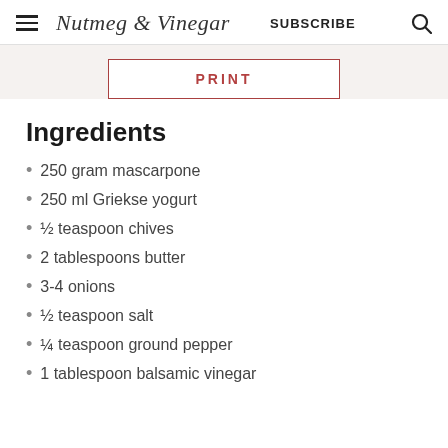Nutmeg & Vinegar  SUBSCRIBE
PRINT
Ingredients
250 gram mascarpone
250 ml Griekse yogurt
½ teaspoon chives
2 tablespoons butter
3-4 onions
½ teaspoon salt
¼ teaspoon ground pepper
1 tablespoon balsamic vinegar